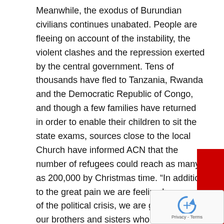Meanwhile, the exodus of Burundian civilians continues unabated. People are fleeing on account of the instability, the violent clashes and the repression exerted by the central government. Tens of thousands have fled to Tanzania, Rwanda and the Democratic Republic of Congo, and though a few families have returned in order to enable their children to sit the state exams, sources close to the local Church have informed ACN that the number of refugees could reach as many as 200,000 by Christmas time. “In addition to the great pain we are feeling because of the political crisis, we are grieving for our brothers and sisters who have been forced to flee”, Father Lambert told ACN.
The people are living in fear and uncertainty, not least on account of the grave lack of information. For in